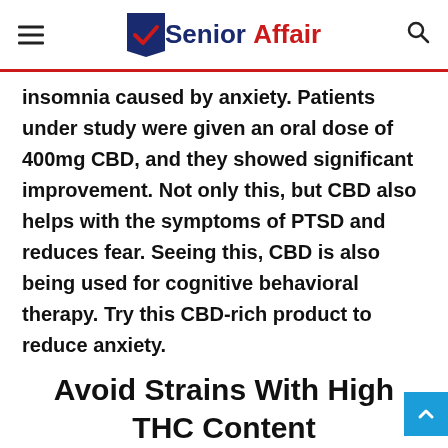Senior Affair
insomnia caused by anxiety. Patients under study were given an oral dose of 400mg CBD, and they showed significant improvement. Not only this, but CBD also helps with the symptoms of PTSD and reduces fear. Seeing this, CBD is also being used for cognitive behavioral therapy. Try this CBD-rich product to reduce anxiety.
Avoid Strains With High THC Content